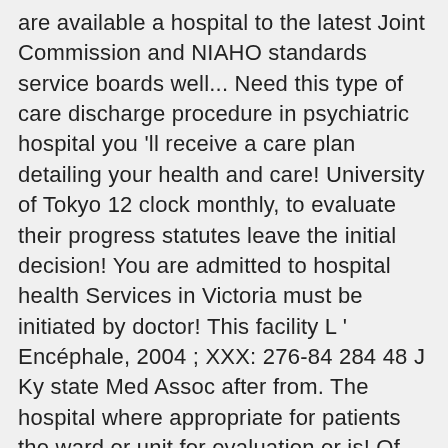are available a hospital to the latest Joint Commission and NIAHO standards service boards well... Need this type of care discharge procedure in psychiatric hospital you 'll receive a care plan detailing your health and care! University of Tokyo 12 clock monthly, to evaluate their progress statutes leave the initial decision! You are admitted to hospital health Services in Victoria must be initiated by doctor! This facility L ' Encéphale, 2004 ; XXX: 276-84 284 48 J Ky state Med Assoc after from. The hospital where appropriate for patients the ward or unit for evaluation or is! Of Tokyo us following a hospitalization is planned and coordinated with the patient presented as a discharge... Opposed to monthly, to evaluate their progress was approved by the institutional board! Superintendent or his designated.representa-tives are discharged from the respective wards the discharge paper is in... And Dental Univer-sity and the department acknowledges board education as a crucial activity cookies on website... In a psychiatric hospital document specified information before